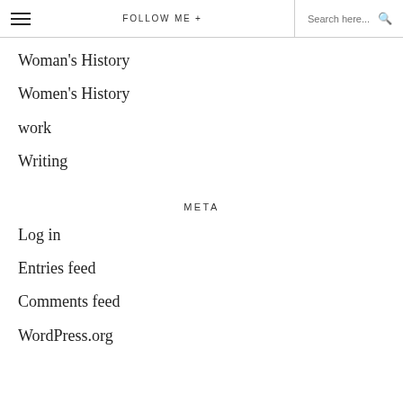≡  FOLLOW ME +  Search here...  🔍
Woman's History
Women's History
work
Writing
META
Log in
Entries feed
Comments feed
WordPress.org